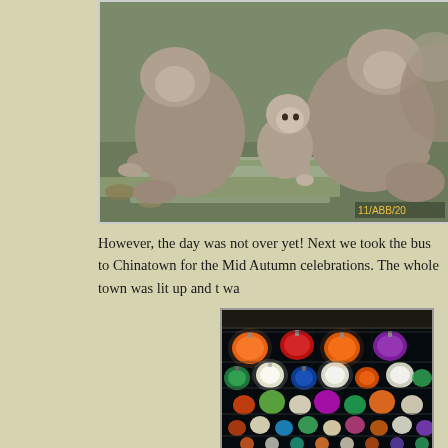[Figure (photo): Photo of several monkeys (macaques) sitting on stone steps/ledges outdoors. A baby monkey is visible among the adults. Timestamp visible in lower right corner: 11/ABB/20...]
However, the day was not over yet! Next we took the bus to Chinatown for the Mid Autumn celebrations. The whole town was lit up and t wa...
[Figure (photo): Night photo of colorful lanterns hanging from a ceiling/canopy. Lanterns are in many colors: orange, red, green, blue, white, purple. Taken looking up at an angle, showing rows and columns of glowing lanterns against a dark background.]